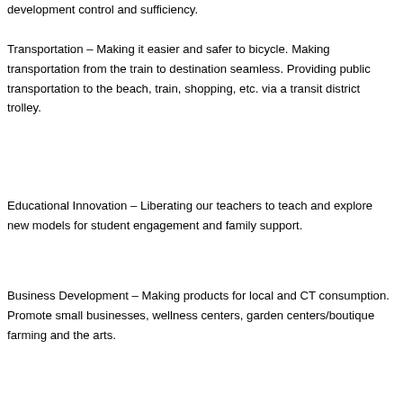development control and sufficiency.
Transportation – Making it easier and safer to bicycle. Making transportation from the train to destination seamless. Providing public transportation to the beach, train, shopping, etc. via a transit district trolley.
Educational Innovation – Liberating our teachers to teach and explore new models for student engagement and family support.
Business Development – Making products for local and CT consumption. Promote small businesses, wellness centers, garden centers/boutique farming and the arts.